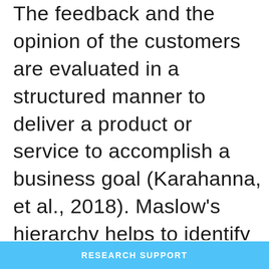The feedback and the opinion of the customers are evaluated in a structured manner to deliver a product or service to accomplish a business goal (Karahanna, et al., 2018). Maslow's hierarchy helps to identify the difference between the external environments that affect an individual's behaviour, trait and attributes in choosing a brand. The psychological and social demand of the customers remain fulfilled effectively by evaluating the model and the price of the products remain aligned with the regular range
RESEARCH SUPPORT